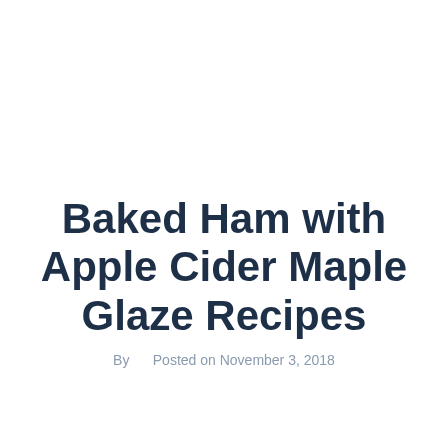Baked Ham with Apple Cider Maple Glaze Recipes
By   Posted on November 3, 2018